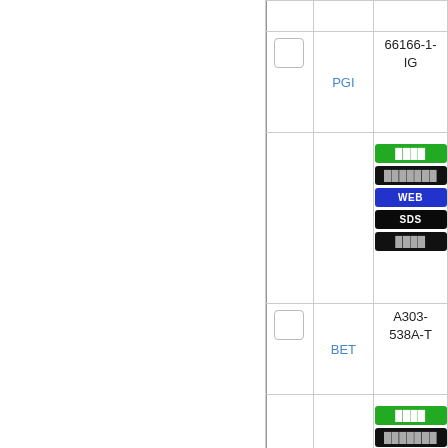| [checkbox] | Source | Part Number / Buttons |
| --- | --- | --- |
|  |  |  |
| [checkbox] | PGI | 66166-1-IG
[green btn][black btn][WEB][SDS][black btn] |
| [checkbox] | BET | A303-538A-T
[green btn][black btn] |
| [checkbox] | PGI | CL555-... |